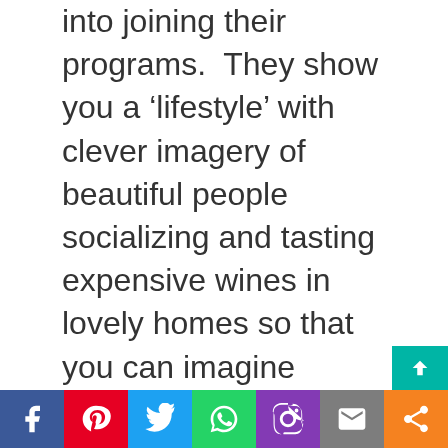into joining their programs.  They show you a 'lifestyle' with clever imagery of beautiful people socializing and tasting expensive wines in lovely homes so that you can imagine yourself doing the same.
The sad reality is that the MLM format is not conducive for you, at the bottom of the pyramid, to make an income.  You will have to invest quite a bit to get started as well
[Figure (infographic): Social media sharing bar with buttons for Facebook, Pinterest, Twitter, WhatsApp, Instagram, Email, and Share]